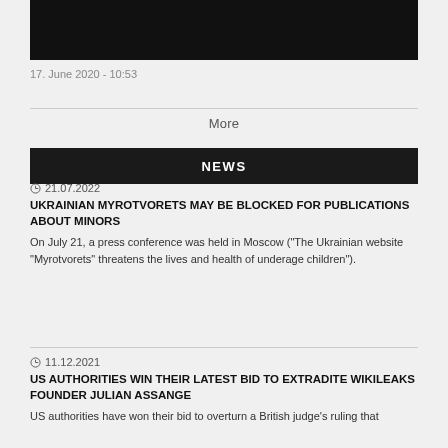[Figure (photo): Black rectangle image at the top of the page]
17. June 2020 - 10:53
More
NEWS
21.07.2022
UKRAINIAN MYROTVORETS MAY BE BLOCKED FOR PUBLICATIONS ABOUT MINORS
On July 21, a press conference was held in Moscow ("The Ukrainian website "Myrotvorets" threatens the lives and health of underage children").
11.12.2021
US AUTHORITIES WIN THEIR LATEST BID TO EXTRADITE WIKILEAKS FOUNDER JULIAN ASSANGE
US authorities have won their bid to overturn a British judge's ruling that